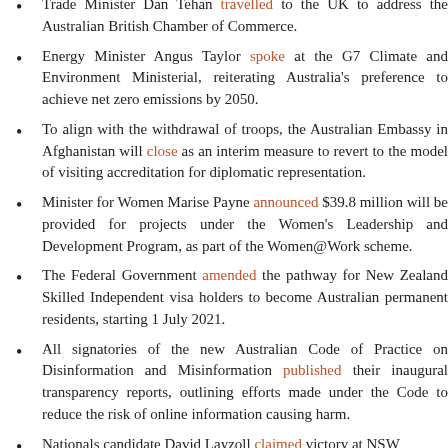Trade Minister Dan Tehan travelled to the UK to address the Australian British Chamber of Commerce.
Energy Minister Angus Taylor spoke at the G7 Climate and Environment Ministerial, reiterating Australia's preference to achieve net zero emissions by 2050.
To align with the withdrawal of troops, the Australian Embassy in Afghanistan will close as an interim measure to revert to the model of visiting accreditation for diplomatic representation.
Minister for Women Marise Payne announced $39.8 million will be provided for projects under the Women's Leadership and Development Program, as part of the Women@Work scheme.
The Federal Government amended the pathway for New Zealand Skilled Independent visa holders to become Australian permanent residents, starting 1 July 2021.
All signatories of the new Australian Code of Practice on Disinformation and Misinformation published their inaugural transparency reports, outlining efforts made under the Code to reduce the risk of online information causing harm.
Nationals candidate David Layzoll claimed victory at NSW...